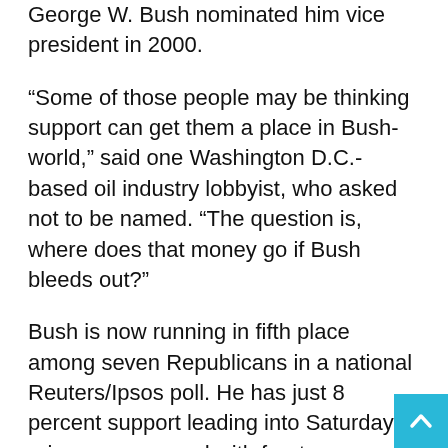George W. Bush nominated him vice president in 2000.
“Some of those people may be thinking support can get them a place in Bush-world,” said one Washington D.C.-based oil industry lobbyist, who asked not to be named. “The question is, where does that money go if Bush bleeds out?”
Bush is now running in fifth place among seven Republicans in a national Reuters/Ipsos poll. He has just 8 percent support leading into Saturday’s primary, compared with front-runner Donald Trump’s 40 percent. Cruz and Rubio came second and third in the poll with 17 percent and 11 percent, respectively.
Donations directly from oil companies and their political action committees or PACs have been practically nil – suggesting that millions of dollars remain on the sidelines of the race that could be deployed once the field of candidat